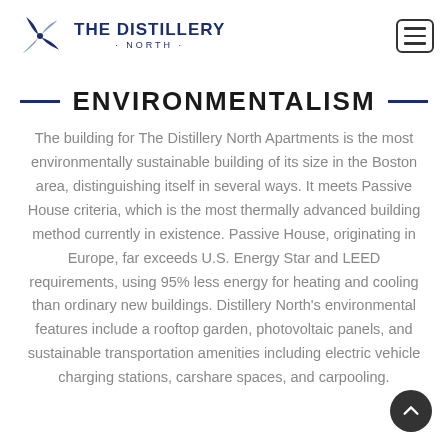THE DISTILLERY · NORTH ·
ENVIRONMENTALISM
The building for The Distillery North Apartments is the most environmentally sustainable building of its size in the Boston area, distinguishing itself in several ways. It meets Passive House criteria, which is the most thermally advanced building method currently in existence. Passive House, originating in Europe, far exceeds U.S. Energy Star and LEED requirements, using 95% less energy for heating and cooling than ordinary new buildings. Distillery North's environmental features include a rooftop garden, photovoltaic panels, and sustainable transportation amenities including electric vehicle charging stations, carshare spaces, and carpooling.